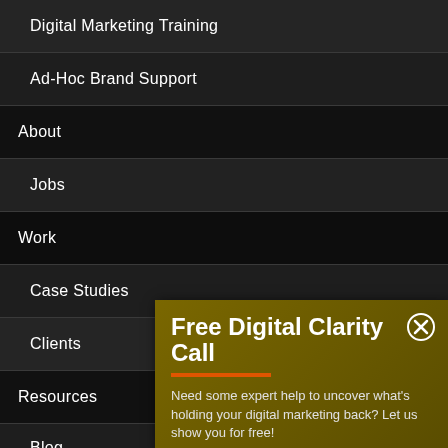Digital Marketing Training
Ad-Hoc Brand Support
About
Jobs
Work
Case Studies
Clients
Resources
Blog
[Figure (screenshot): Popup modal with olive/dark yellow background showing 'Free Digital Clarity Call' heading with orange underline, a close button (circled X), and body text: 'Need some expert help to uncover what's holding your digital marketing back? Let us show you for free!']